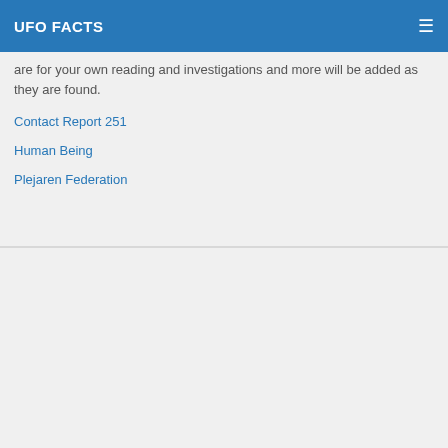UFO FACTS
are for your own reading and investigations and more will be added as they are found.
Contact Report 251
Human Being
Plejaren Federation